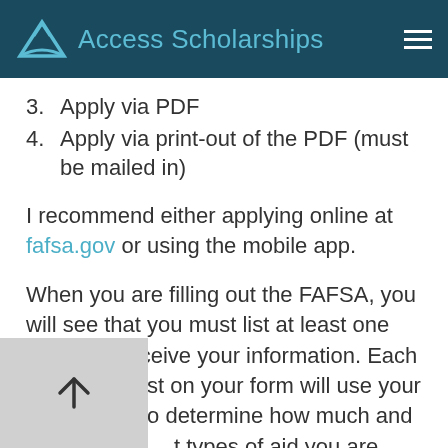Access Scholarships
3. Apply via PDF
4. Apply via print-out of the PDF (must be mailed in)
I recommend either applying online at fafsa.gov or using the mobile app.
When you are filling out the FAFSA, you will see that you must list at least one school to receive your information. Each school you list on your form will use your information to determine how much and what types of aid you are eligible to receive.